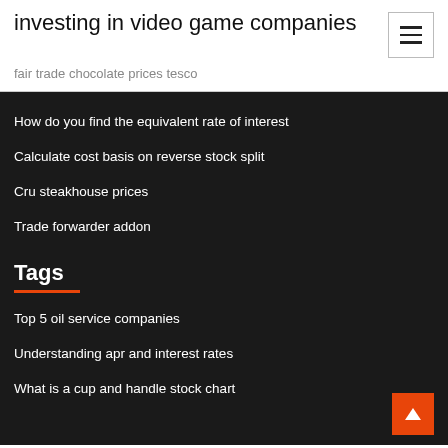investing in video game companies
fair trade chocolate prices tesco
How do you find the equivalent rate of interest
Calculate cost basis on reverse stock split
Cru steakhouse prices
Trade forwarder addon
Tags
Top 5 oil service companies
Understanding apr and interest rates
What is a cup and handle stock chart